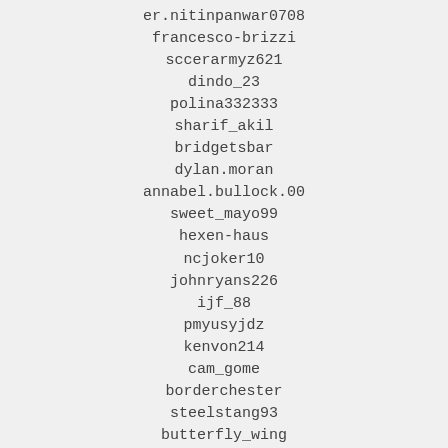er.nitinpanwar0708
francesco-brizzi
sccerarmyz621
dindo_23
polina332333
sharif_akil
bridgetsbar
dylan.moran
annabel.bullock.00
sweet_mayo99
hexen-haus
ncjoker10
johnryans226
ijf_88
pmyusyjdz
kenvon214
cam_gome
borderchester
steelstang93
butterfly_wing
tuinui98
paulokwaning
olekvamme85
anabela.figueiredo.pereira